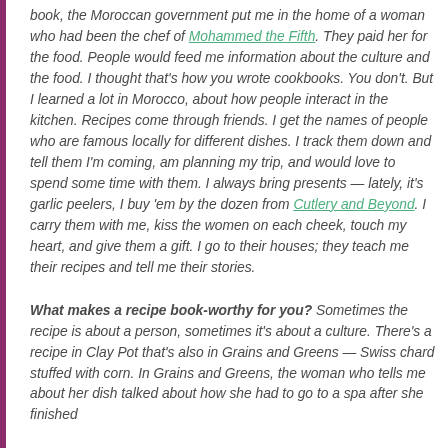book, the Moroccan government put me in the home of a woman who had been the chef of Mohammed the Fifth. They paid her for the food. People would feed me information about the culture and the food. I thought that's how you wrote cookbooks. You don't. But I learned a lot in Morocco, about how people interact in the kitchen. Recipes come through friends. I get the names of people who are famous locally for different dishes. I track them down and tell them I'm coming, am planning my trip, and would love to spend some time with them. I always bring presents — lately, it's garlic peelers, I buy 'em by the dozen from Cutlery and Beyond. I carry them with me, kiss the women on each cheek, touch my heart, and give them a gift. I go to their houses; they teach me their recipes and tell me their stories.
What makes a recipe book-worthy for you? Sometimes the recipe is about a person, sometimes it's about a culture. There's a recipe in Clay Pot that's also in Grains and Greens — Swiss chard stuffed with corn. In Grains and Greens, the woman who tells me about her dish talked about how she had to go to a spa after she finished